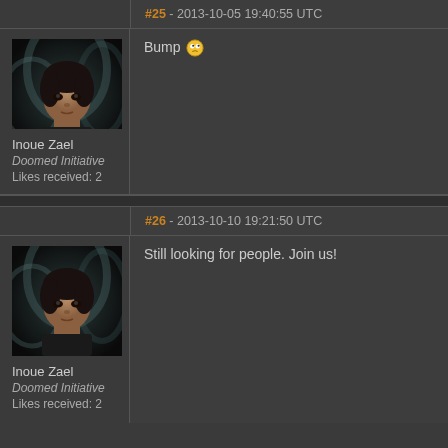[Figure (screenshot): Forum thread showing two posts by user Inoue Zael from Doomed Initiative. The first post is partially visible at the top with a 'Bump' message and an emoji. The second post (#26) dated 2013-10-10 19:21:50 UTC says 'Still looking for people. Join us!' Both posts have an avatar of a dark-haired female character.]
#25 - 2013-10-05 19:40:55 UTC
Bump 😐
Inoue Zael
Doomed Initiative
Likes received: 2
#26 - 2013-10-10 19:21:50 UTC
Still looking for people. Join us!
Inoue Zael
Doomed Initiative
Likes received: 2